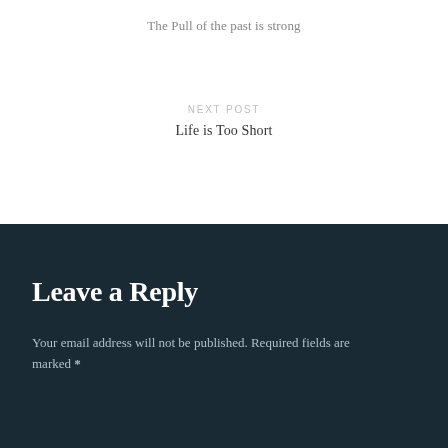The Pull of the past is strong
NEXT POST
Life is Too Short
Leave a Reply
Your email address will not be published. Required fields are marked *